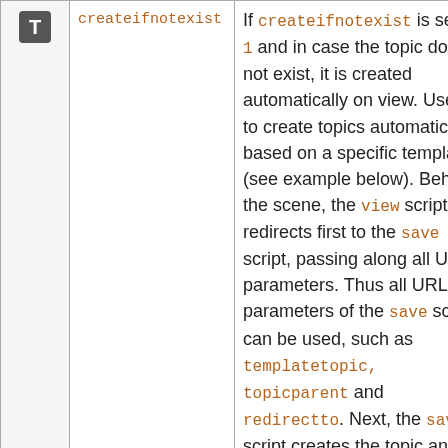|  | Parameter | Description |
| --- | --- | --- |
| T | createifnotexist | If createifnotexist is set to 1 and in case the topic does not exist, it is created automatically on view. Useful to create topics automatically based on a specific template (see example below). Behind the scene, the view script redirects first to the save script, passing along all URL parameters. Thus all URL parameters of the save script can be used, such as templatetopic, topicparent and redirectto. Next, the save script creates the topic and redirects back to the view script (or displays an error in case there were any issues creating the topic). |
|  | extralog | Add additional text to TWiki |